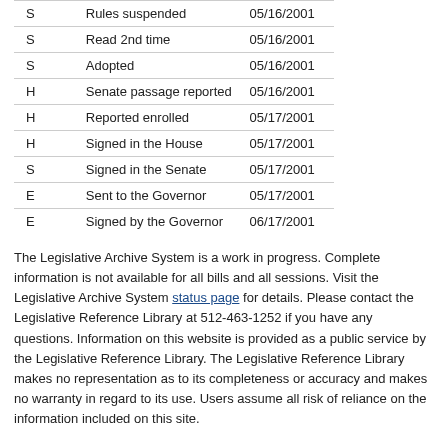|  | Action | Date |
| --- | --- | --- |
| S | Rules suspended | 05/16/2001 |
| S | Read 2nd time | 05/16/2001 |
| S | Adopted | 05/16/2001 |
| H | Senate passage reported | 05/16/2001 |
| H | Reported enrolled | 05/17/2001 |
| H | Signed in the House | 05/17/2001 |
| S | Signed in the Senate | 05/17/2001 |
| E | Sent to the Governor | 05/17/2001 |
| E | Signed by the Governor | 06/17/2001 |
The Legislative Archive System is a work in progress. Complete information is not available for all bills and all sessions. Visit the Legislative Archive System status page for details. Please contact the Legislative Reference Library at 512-463-1252 if you have any questions. Information on this website is provided as a public service by the Legislative Reference Library. The Legislative Reference Library makes no representation as to its completeness or accuracy and makes no warranty in regard to its use. Users assume all risk of reliance on the information included on this site.